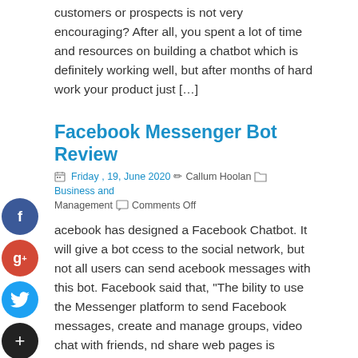customers or prospects is not very encouraging? After all, you spent a lot of time and resources on building a chatbot which is definitely working well, but after months of hard work your product just […]
Facebook Messenger Bot Review
Friday , 19, June 2020   Callum Hoolan   Business and Management   Comments Off
Facebook has designed a Facebook Chatbot. It will give a bot access to the social network, but not all users can send Facebook messages with this bot. Facebook said that, "The ability to use the Messenger platform to send Facebook messages, create and manage groups, video chat with friends, and share web pages is currently […]